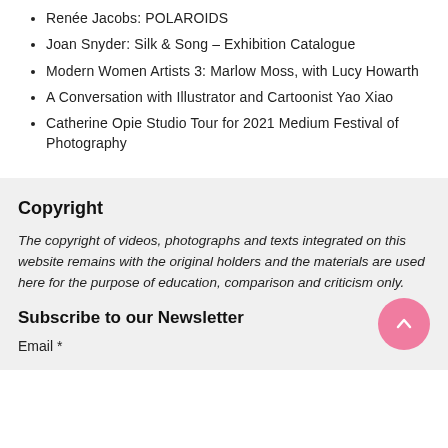Renée Jacobs: POLAROIDS
Joan Snyder: Silk & Song – Exhibition Catalogue
Modern Women Artists 3: Marlow Moss, with Lucy Howarth
A Conversation with Illustrator and Cartoonist Yao Xiao
Catherine Opie Studio Tour for 2021 Medium Festival of Photography
Copyright
The copyright of videos, photographs and texts integrated on this website remains with the original holders and the materials are used here for the purpose of education, comparison and criticism only.
Subscribe to our Newsletter
Email *